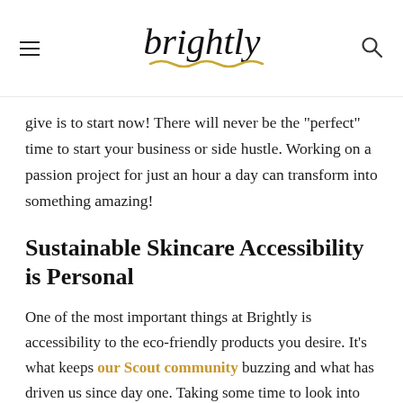brightly (logo)
give is to start now! There will never be the “perfect” time to start your business or side hustle. Working on a passion project for just an hour a day can transform into something amazing!
Sustainable Skincare Accessibility is Personal
One of the most important things at Brightly is accessibility to the eco-friendly products you desire. It’s what keeps our Scout community buzzing and what has driven us since day one. Taking some time to look into Mary Louise